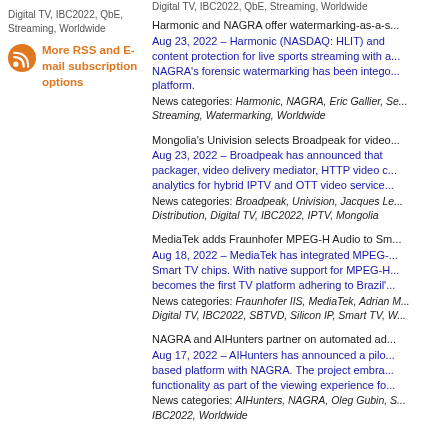Digital TV, IBC2022, QbE, Streaming, Worldwide
More RSS and E-mail subscription options
Harmonic and NAGRA offer watermarking-as-a-s... Aug 23, 2022 – Harmonic (NASDAQ: HLIT) and content protection for live sports streaming with a... NAGRA's forensic watermarking has been integrated... platform. News categories: Harmonic, NAGRA, Eric Gallier, Se... Streaming, Watermarking, Worldwide
Mongolia's Univision selects Broadpeak for video... Aug 23, 2022 – Broadpeak has announced that... packager, video delivery mediator, HTTP video c... analytics for hybrid IPTV and OTT video service... News categories: Broadpeak, Univision, Jacques Le... Distribution, Digital TV, IBC2022, IPTV, Mongolia
MediaTek adds Fraunhofer MPEG-H Audio to Sm... Aug 18, 2022 – MediaTek has integrated MPEG-... Smart TV chips. With native support for MPEG-H... becomes the first TV platform adhering to Brazil'... News categories: Fraunhofer IIS, MediaTek, Adrian M... Digital TV, IBC2022, SBTVD, Silicon IP, Smart TV, W...
NAGRA and AIHunters partner on automated ad... Aug 17, 2022 – AIHunters has announced a pilo... based platform with NAGRA. The project embra... functionality as part of the viewing experience fo... News categories: AIHunters, NAGRA, Oleg Gubin, S... IBC2022, Worldwide